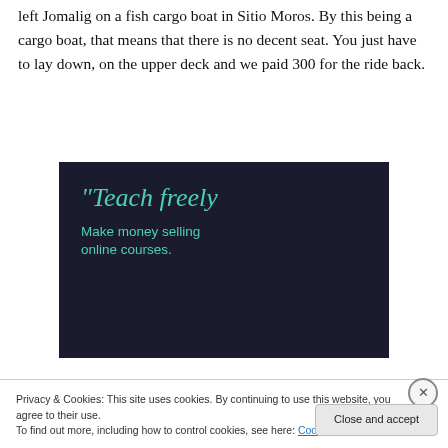left Jomalig on a fish cargo boat in Sitio Moros. By this being a cargo boat, that means that there is no decent seat. You just have to lay down, on the upper deck and we paid 300 for the ride back.
[Figure (screenshot): Advertisement banner with dark navy background showing text 'Teach freely' in teal italic font, and subtitle 'Make money selling online courses.' in teal]
Privacy & Cookies: This site uses cookies. By continuing to use this website, you agree to their use.
To find out more, including how to control cookies, see here: Cookie Policy